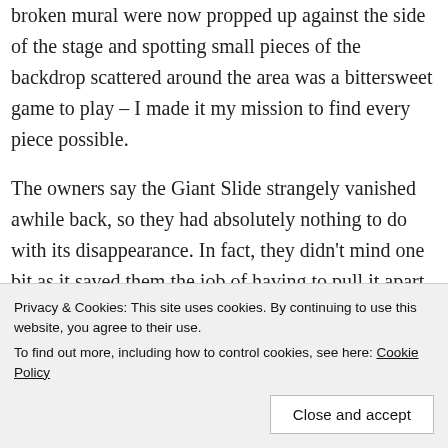broken mural were now propped up against the side of the stage and spotting small pieces of the backdrop scattered around the area was a bittersweet game to play – I made it my mission to find every piece possible.
The owners say the Giant Slide strangely vanished awhile back, so they had absolutely nothing to do with its disappearance. In fact, they didn't mind one bit as it saved them the job of having to pull it apart themselves! So
Privacy & Cookies: This site uses cookies. By continuing to use this website, you agree to their use.
To find out more, including how to control cookies, see here: Cookie Policy
Close and accept